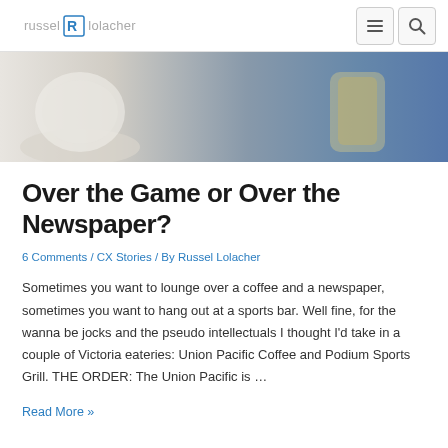russel R lolacher
[Figure (photo): Partial view of a coffee cup and a glass vessel on a wooden table surface]
Over the Game or Over the Newspaper?
6 Comments / CX Stories / By Russel Lolacher
Sometimes you want to lounge over a coffee and a newspaper, sometimes you want to hang out at a sports bar. Well fine, for the wanna be jocks and the pseudo intellectuals I thought I'd take in a couple of Victoria eateries: Union Pacific Coffee and Podium Sports Grill. THE ORDER: The Union Pacific is …
Read More »